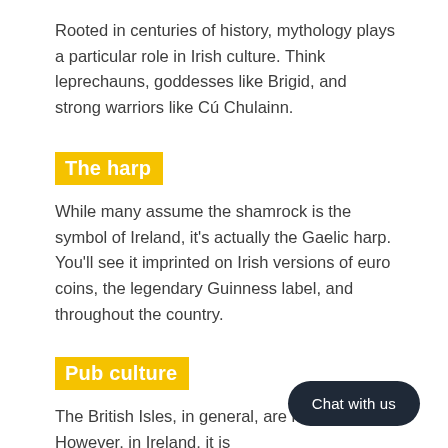Rooted in centuries of history, mythology plays a particular role in Irish culture. Think leprechauns, goddesses like Brigid, and strong warriors like Cú Chulainn.
The harp
While many assume the shamrock is the symbol of Ireland, it's actually the Gaelic harp. You'll see it imprinted on Irish versions of euro coins, the legendary Guinness label, and throughout the country.
Pub culture
The British Isles, in general, are know... However, in Ireland, it is traditionally... Irish music, dancing, and catching up with others in the village. Going to the pub is a typical pastime of many